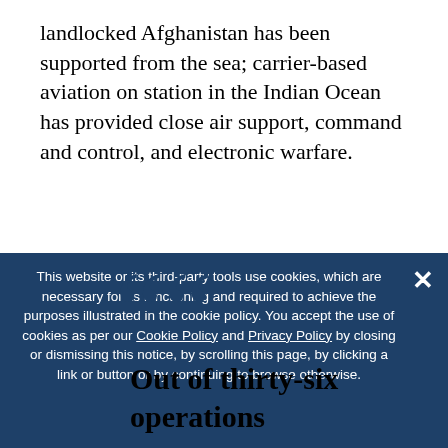landlocked Afghanistan has been supported from the sea; carrier-based aviation on station in the Indian Ocean has provided close air support, command and control, and electronic warfare.
Out of thirty-six operations
This website or its third-party tools use cookies, which are necessary for its functioning and required to achieve the purposes illustrated in the cookie policy. You accept the use of cookies as per our Cookie Policy and Privacy Policy by closing or dismissing this notice, by scrolling this page, by clicking a link or button or by continuing to browse otherwise.